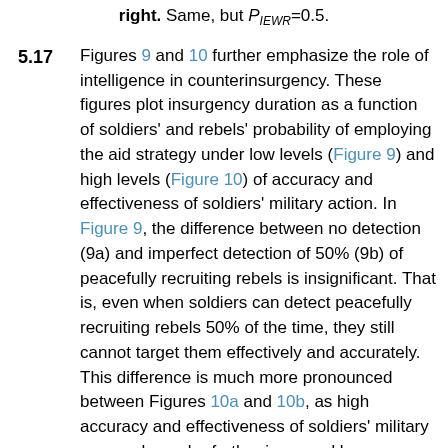right. Same, but P_IEWR=0.5.
5.17   Figures 9 and 10 further emphasize the role of intelligence in counterinsurgency. These figures plot insurgency duration as a function of soldiers' and rebels' probability of employing the aid strategy under low levels (Figure 9) and high levels (Figure 10) of accuracy and effectiveness of soldiers' military action. In Figure 9, the difference between no detection (9a) and imperfect detection of 50% (9b) of peacefully recruiting rebels is insignificant. That is, even when soldiers can detect peacefully recruiting rebels 50% of the time, they still cannot target them effectively and accurately. This difference is much more pronounced between Figures 10a and 10b, as high accuracy and effectiveness of soldiers' military approach can be further improved by